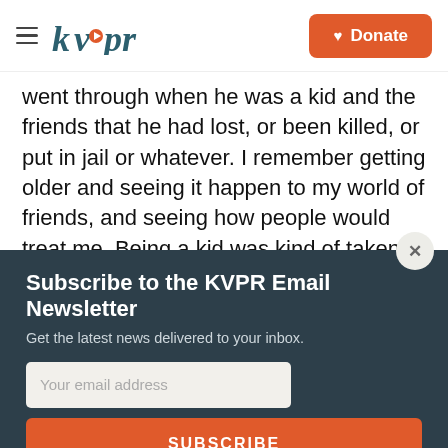kvpr | Donate
went through when he was a kid and the friends that he had lost, or been killed, or put in jail or whatever. I remember getting older and seeing it happen to my world of friends, and seeing how people would treat me. Being a kid was kind of taken from me, I had to grow up a little fast. And especially, you know, I grew up in an all white
Subscribe to the KVPR Email Newsletter
Get the latest news delivered to your inbox.
Your email address
SUBSCRIBE